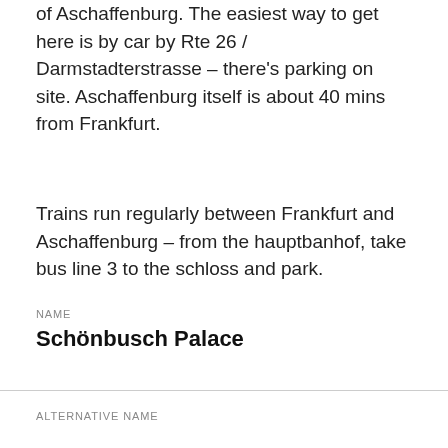of Aschaffenburg. The easiest way to get here is by car by Rte 26 / Darmstadterstrasse – there's parking on site. Aschaffenburg itself is about 40 mins from Frankfurt.
Trains run regularly between Frankfurt and Aschaffenburg – from the hauptbanhof, take bus line 3 to the schloss and park.
NAME
Schönbusch Palace
ALTERNATIVE NAME